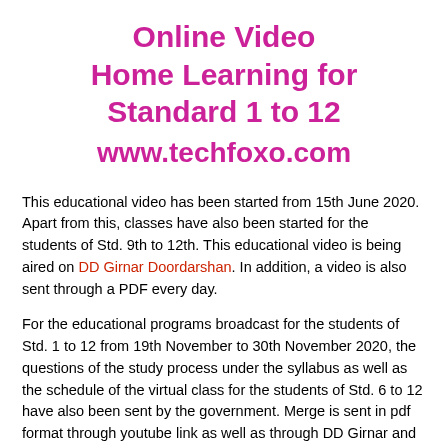Online Video Home Learning for Standard 1 to 12 www.techfoxo.com
This educational video has been started from 15th June 2020. Apart from this, classes have also been started for the students of Std. 9th to 12th. This educational video is being aired on DD Girnar Doordarshan. In addition, a video is also sent through a PDF every day.
For the educational programs broadcast for the students of Std. 1 to 12 from 19th November to 30th November 2020, the questions of the study process under the syllabus as well as the schedule of the virtual class for the students of Std. 6 to 12 have also been sent by the government. Merge is sent in pdf format through youtube link as well as through DD Girnar and through this the children